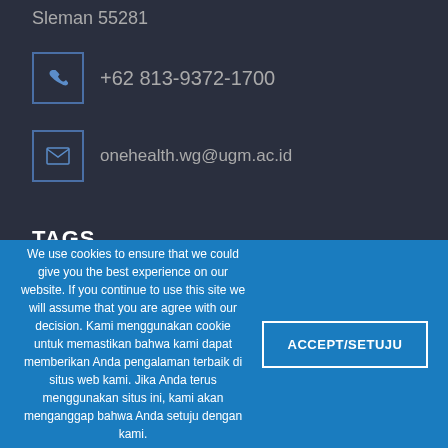Sleman 55281
+62 813-9372-1700
onehealth.wg@ugm.ac.id
TAGS
ohccugm
one health
one health collaborrating center UGM
one health ugm
We use cookies to ensure that we could give you the best experience on our website. If you continue to use this site we will assume that you are agree with our decision. Kami menggunakan cookie untuk memastikan bahwa kami dapat memberikan Anda pengalaman terbaik di situs web kami. Jika Anda terus menggunakan situs ini, kami akan menganggap bahwa Anda setuju dengan kami.
ACCEPT/SETUJU